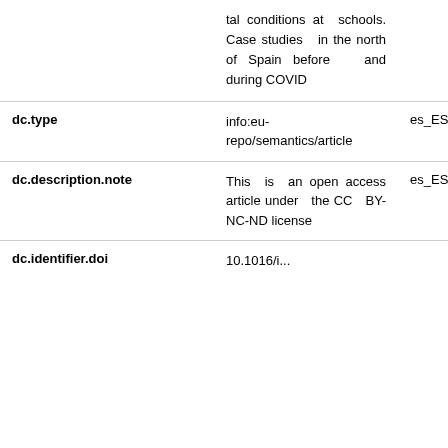| Field | Value | Language |
| --- | --- | --- |
|  | tal conditions at schools. Case studies in the north of Spain before and during COVID |  |
| dc.type | info:eu-repo/semantics/article | es_ES |
| dc.description.note | This is an open access article under the CC BY-NC-ND license | es_ES |
| dc.identifier.doi | 10.1016/... |  |